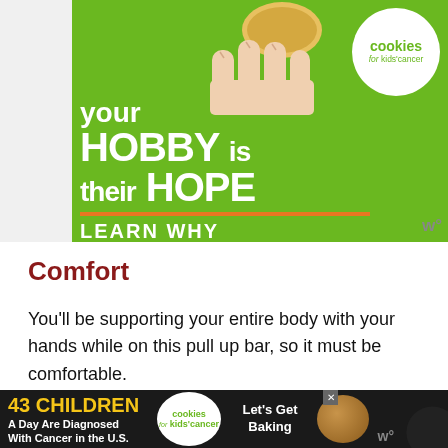[Figure (illustration): Advertisement banner for 'Cookies for Kids Cancer' charity. Green background with hand holding a cookie. Text reads: 'your HOBBY is their HOPE - LEARN WHY'. White circular logo in top right with 'cookies for kids cancer'.]
Comfort
You'll be supporting your entire body with your hands while on this pull up bar, so it must be comfortable.
Look for options that can protect against
[Figure (illustration): Bottom advertisement bar for 'Cookies for Kids Cancer'. Dark background with text '43 CHILDREN A Day Are Diagnosed With Cancer in the U.S.' alongside cookies for kids cancer logo and 'Let's Get Baking' text. Close button (X) visible. Dark circular element on right.]